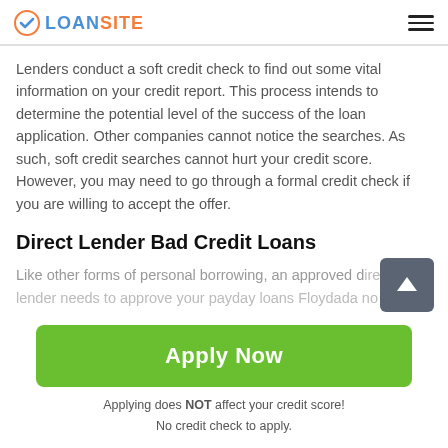LOANSITE
Lenders conduct a soft credit check to find out some vital information on your credit report. This process intends to determine the potential level of the success of the loan application. Other companies cannot notice the searches. As such, soft credit searches cannot hurt your credit score. However, you may need to go through a formal credit check if you are willing to accept the offer.
Direct Lender Bad Credit Loans
Like other forms of personal borrowing, an approved direct lender needs to approve your payday loans Floydada no
[Figure (other): Green Apply Now button with upward arrow scroll-to-top button]
Applying does NOT affect your credit score!
No credit check to apply.